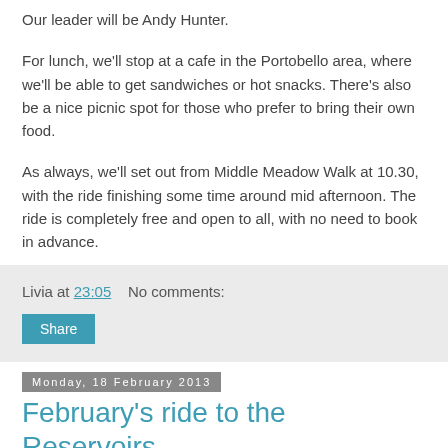Our leader will be Andy Hunter.
For lunch, we'll stop at a cafe in the Portobello area, where we'll be able to get sandwiches or hot snacks. There's also be a nice picnic spot for those who prefer to bring their own food.
As always, we'll set out from Middle Meadow Walk at 10.30, with the ride finishing some time around mid afternoon. The ride is completely free and open to all, with no need to book in advance.
Livia at 23:05    No comments:
Share
Monday, 18 February 2013
February's ride to the Reservoirs
Some nineteen intrepid riders headed for the hills on 9Feb, in hazy sunshine. After a swift climb up Braid Avenue, we headed through Greenbank to Comiston Rd past Firrhill High School, climbing Woodhall Rd and joining the Water of Leith path NCN75 near Juniper Green.